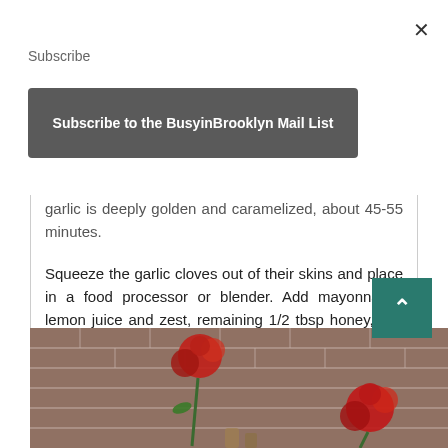Subscribe
Subscribe to the BusyinBrooklyn Mail List
garlic is deeply golden and caramelized, about 45-55 minutes.
Squeeze the garlic cloves out of their skins and place in a food processor or blender. Add mayonnaise, lemon juice and zest, remaining 1/2 tbsp honey, salt and pepper. Blend until smooth.
[Figure (photo): Photo of red roses in front of a brick wall background]